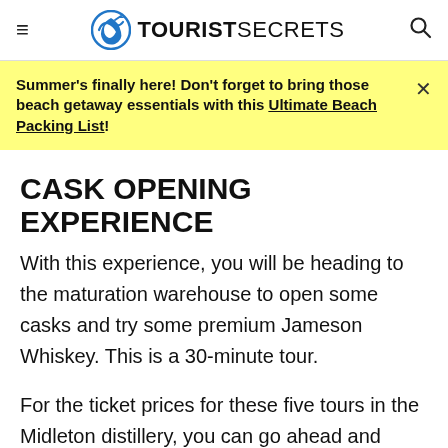TOURISTSECRETS
Summer's finally here! Don't forget to bring those beach getaway essentials with this Ultimate Beach Packing List!
CASK OPENING EXPERIENCE
With this experience, you will be heading to the maturation warehouse to open some casks and try some premium Jameson Whiskey. This is a 30-minute tour.
For the ticket prices for these five tours in the Midleton distillery, you can go ahead and check out